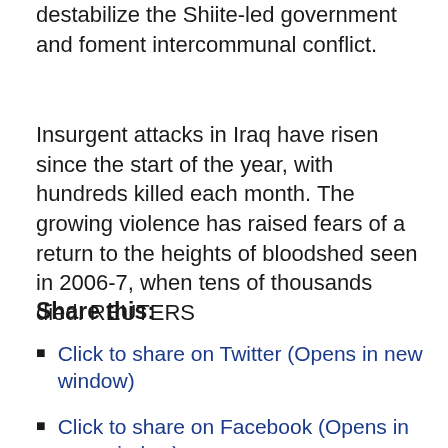destabilize the Shiite-led government and foment intercommunal conflict.
Insurgent attacks in Iraq have risen since the start of the year, with hundreds killed each month. The growing violence has raised fears of a return to the heights of bloodshed seen in 2006-7, when tens of thousands died. REUTERS
Share this:
Click to share on Twitter (Opens in new window)
Click to share on Facebook (Opens in new window)
Click to share on Pinterest (Opens in new window)